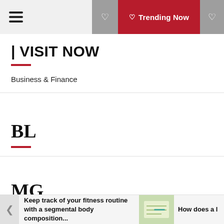Trending Now
| VISIT NOW
Business & Finance
BL
MG
Hãy tham gia cùng chúng tôi, có rất nhiều trận đấu hấp dẫn đang chờ đợi bạn đón xem, hãy tham gia để trải nghiệm trang web bóng đá với những thiết kế hiện đại, thân thiên, phù hợp
Keep track of your fitness routine with a segmental body composition...
How does a l